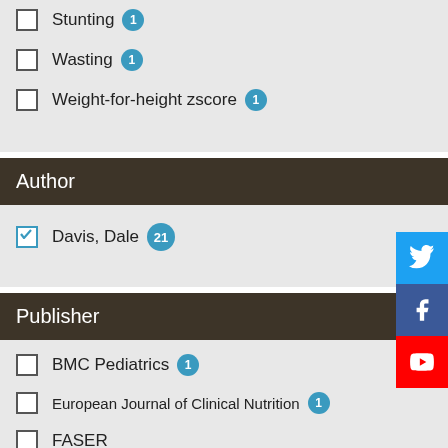Stunting 1
Wasting 1
Weight-for-height zscore 1
Author
Davis, Dale 21
Publisher
BMC Pediatrics 1
European Journal of Clinical Nutrition 1
FASER